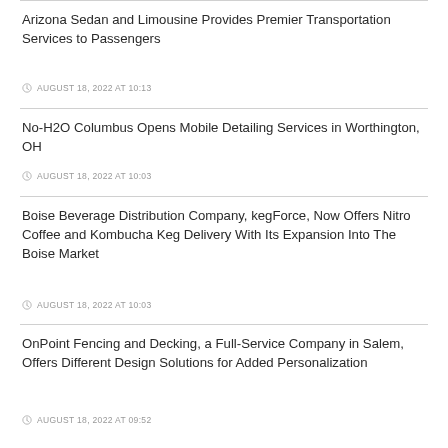Arizona Sedan and Limousine Provides Premier Transportation Services to Passengers
AUGUST 18, 2022 AT 10:13
No-H2O Columbus Opens Mobile Detailing Services in Worthington, OH
AUGUST 18, 2022 AT 10:03
Boise Beverage Distribution Company, kegForce, Now Offers Nitro Coffee and Kombucha Keg Delivery With Its Expansion Into The Boise Market
AUGUST 18, 2022 AT 10:03
OnPoint Fencing and Decking, a Full-Service Company in Salem, Offers Different Design Solutions for Added Personalization
AUGUST 18, 2022 AT 09:52